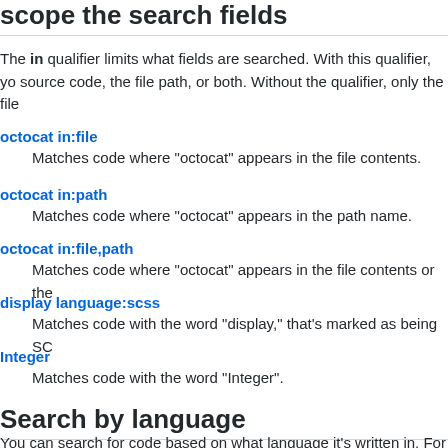scope the search fields
The in qualifier limits what fields are searched. With this qualifier, you can search source code, the file path, or both. Without the qualifier, only the file
octocat in:file — Matches code where "octocat" appears in the file contents.
octocat in:path — Matches code where "octocat" appears in the path name.
octocat in:file,path — Matches code where "octocat" appears in the file contents or the
display language:scss — Matches code with the word "display," that's marked as being SC
Integer — Matches code with the word "Integer".
Search by language
You can search for code based on what language it's written in. For